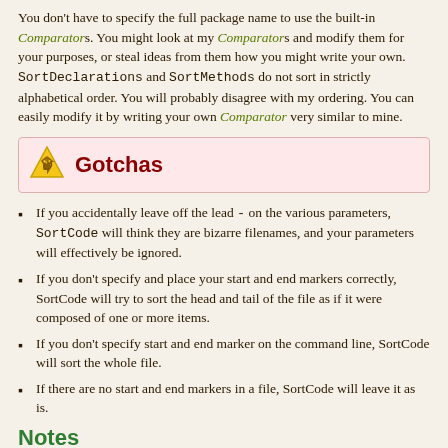You don't have to specify the full package name to use the built-in Comparators. You might look at my Comparators and modify them for your purposes, or steal ideas from them how you might write your own. SortDeclarations and SortMethods do not sort in strictly alphabetical order. You will probably disagree with my ordering. You can easily modify it by writing your own Comparator very similar to mine.
Gotchas
If you accidentally leave off the lead - on the various parameters, SortCode will think they are bizarre filenames, and your parameters will effectively be ignored.
If you don't specify and place your start and end markers correctly, SortCode will try to sort the head and tail of the file as if it were composed of one or more items.
If you don't specify start and end marker on the command line, SortCode will sort the whole file.
If there are no start and end markers in a file, SortCode will leave it as is.
Notes